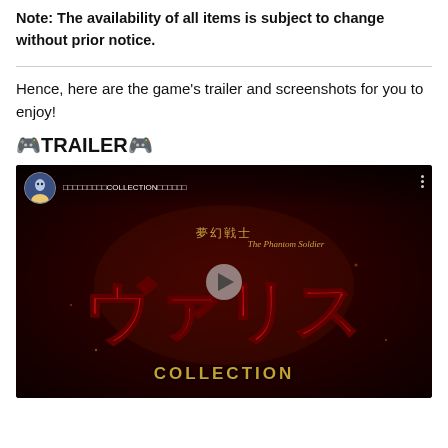Note: The availability of all items is subject to change without prior notice.
Hence, here are the game's trailer and screenshots for you to enjoy!
🎮TRAILER🎮
[Figure (screenshot): YouTube video thumbnail/embed for 夢幻戦士ヴァリス The Phantom Soldier COLLECTION trailer, showing Japanese title text in red stylized font with 'COLLECTION' in gold at the bottom, anime avatar in top left, dark red background]